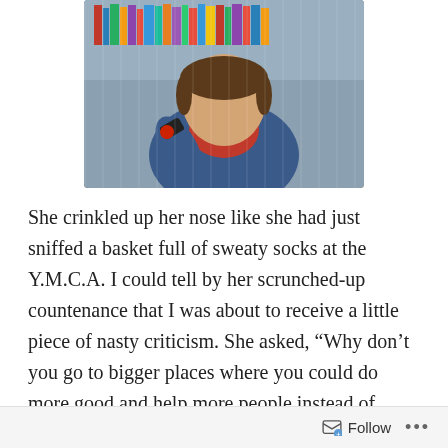[Figure (photo): A person wearing a red turtleneck and denim jacket, posing with hand near chin showing a watch, in front of bookshelves in what appears to be a library or bookstore.]
She crinkled up her nose like she had just sniffed a basket full of sweaty socks at the Y.M.C.A. I could tell by her scrunched-up countenance that I was about to receive a little piece of nasty criticism. She asked, “Why don’t you go to bigger places where you could do more good and help more people instead of coming to small towns with congregations with so little attendance?”
She thought she had invented the wheel. She believed she had discovered a weakness in my effort and had uncovered a fragment of stupidity in my planning. I asked
Follow …